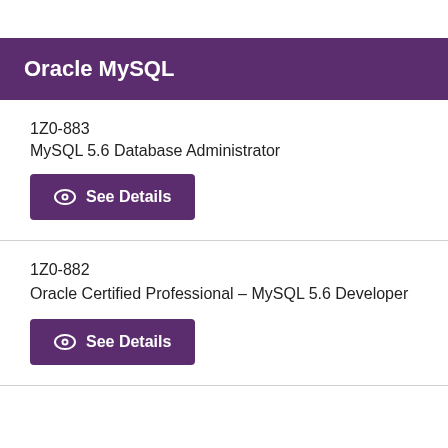Oracle MySQL
1Z0-883
MySQL 5.6 Database Administrator
See Details
1Z0-882
Oracle Certified Professional – MySQL 5.6 Developer
See Details